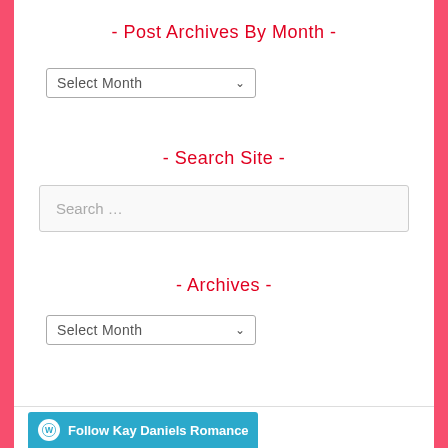- Post Archives By Month -
[Figure (other): A dropdown select widget showing 'Select Month' with a down arrow, bordered with a thin gray rectangle]
- Search Site -
[Figure (other): A search input box with placeholder text 'Search ...' on a light gray background]
- Archives -
[Figure (other): A dropdown select widget showing 'Select Month' with a down arrow, bordered with a thin gray rectangle]
[Figure (other): A teal/cyan button bar at the bottom reading 'Follow Kay Daniels Romance' with a WordPress circle logo on the left]